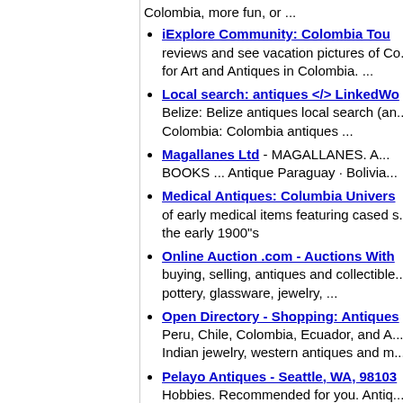Colombia, more fun, or ...
iExplore Community: Colombia Tou... reviews and see vacation pictures of Co... for Art and Antiques in Colombia. ...
Local search: antiques </> LinkedWo... Belize: Belize antiques local search (an... Colombia: Colombia antiques ...
Magallanes Ltd - MAGALLANES. A... BOOKS ... Antique Paraguay · Bolivia...
Medical Antiques: Columbia Univers... of early medical items featuring cased s... the early 1900"s
Online Auction .com - Auctions With... buying, selling, antiques and collectible... pottery, glassware, jewelry, ...
Open Directory - Shopping: Antiques... Peru, Chile, Colombia, Ecuador, and A... Indian jewelry, western antiques and m...
Pelayo Antiques - Seattle, WA, 98103... Hobbies. Recommended for you. Antiq... Mexico and Spain; clocks; ...
precolumbian antiques - ... specializing... allow the most refined collectors and a...
Random House | Books | XXCATNA... Biography & Memoir. Body, Mind & S...